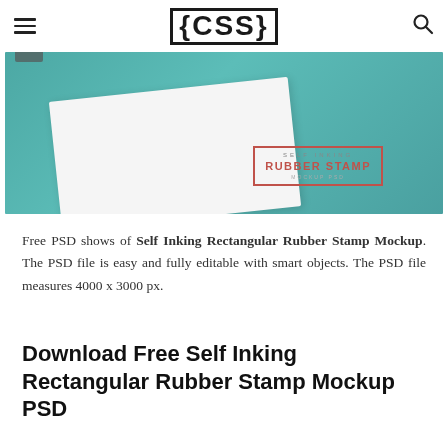≡  {CSS}  🔍
[Figure (photo): Photo of a white card with a Self Inking Rubber Stamp Mockup label on a teal/cyan background, with a stamp tool visible.]
Free PSD shows of Self Inking Rectangular Rubber Stamp Mockup. The PSD file is easy and fully editable with smart objects. The PSD file measures 4000 x 3000 px.
Download Free Self Inking Rectangular Rubber Stamp Mockup PSD